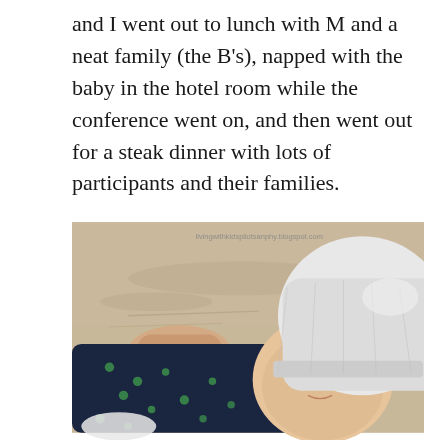and I went out to lunch with M and a neat family (the B's), napped with the baby in the hotel room while the conference went on, and then went out for a steak dinner with lots of participants and their families.
[Figure (photo): A sleeping baby wearing a white knit hat and a dark navy outfit with green frog/star pattern, lying on what appears to be sand or a light-colored surface. An adult hand is visible behind the baby's head. A watermark reading 'livingwithkidspilotsanphy.blogspot.com' appears in the upper right corner of the photo.]